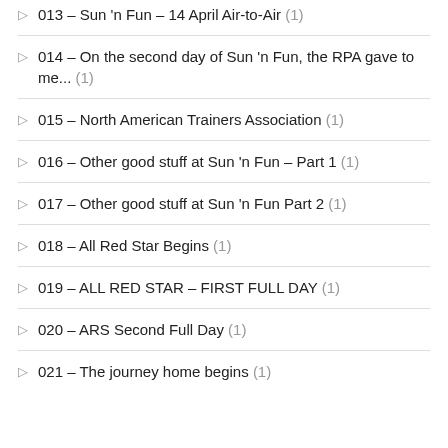013 – Sun 'n Fun – 14 April Air-to-Air (1)
014 – On the second day of Sun 'n Fun, the RPA gave to me... (1)
015 – North American Trainers Association (1)
016 – Other good stuff at Sun 'n Fun – Part 1 (1)
017 – Other good stuff at Sun 'n Fun Part 2 (1)
018 – All Red Star Begins (1)
019 – ALL RED STAR – FIRST FULL DAY (1)
020 – ARS Second Full Day (1)
021 – The journey home begins (1)